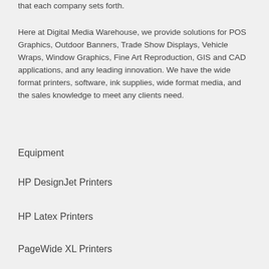that each company sets forth.
Here at Digital Media Warehouse, we provide solutions for POS Graphics, Outdoor Banners, Trade Show Displays, Vehicle Wraps, Window Graphics, Fine Art Reproduction, GIS and CAD applications, and any leading innovation. We have the wide format printers, software, ink supplies, wide format media, and the sales knowledge to meet any clients need.
Equipment
HP DesignJet Printers
HP Latex Printers
PageWide XL Printers